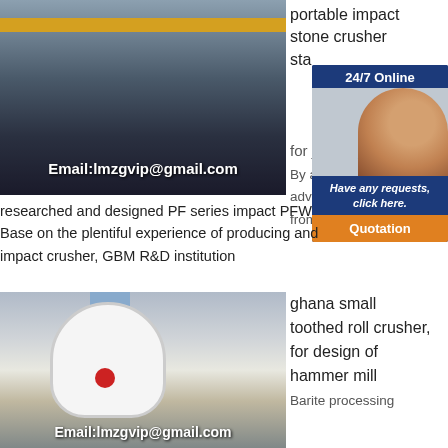[Figure (photo): Industrial mobile crusher machines in a factory/warehouse with yellow overhead crane beam. Email overlay: Email:lmzgvip@gmail.com]
portable impact stone crusher sta... for j...
[Figure (infographic): 24/7 Online chat widget with a woman wearing a headset, blue background. Text: '24/7 Online', 'Have any requests, click here.', 'Quotation' button.]
By a... adva... from... researched and designed PF series impact PFW... Base on the plentiful experience of producing and... impact crusher, GBM R&D institution
[Figure (photo): Large industrial grinding mill/crusher machine (white cylindrical body with red logo) in an outdoor setting. Email overlay: Email:lmzgvip@gmail.com]
ghana small toothed roll crusher, for design of hammer mill
Barite processing